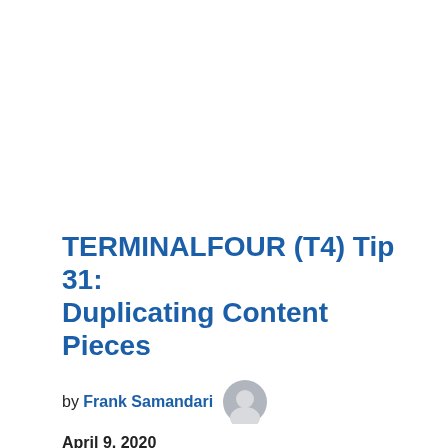TERMINALFOUR (T4) Tip 31: Duplicating Content Pieces
by Frank Samandari
April 9, 2020
Intended Audience: Contributors and Moderators TIP: Streamline web publishing by using time-saving tips (Part 1 of 2) Explanation: One of the